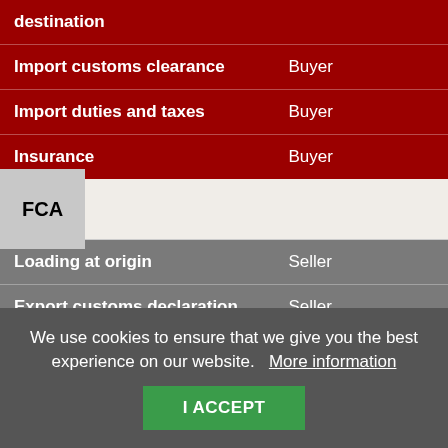|  |  |
| --- | --- |
| destination |  |
| Import customs clearance | Buyer |
| Import duties and taxes | Buyer |
| Insurance | Buyer |
FCA
|  |  |
| --- | --- |
| Loading at origin | Seller |
| Export customs declaration | Seller |
| Carriage to port of export | Seller |
We use cookies to ensure that we give you the best experience on our website. More information I ACCEPT